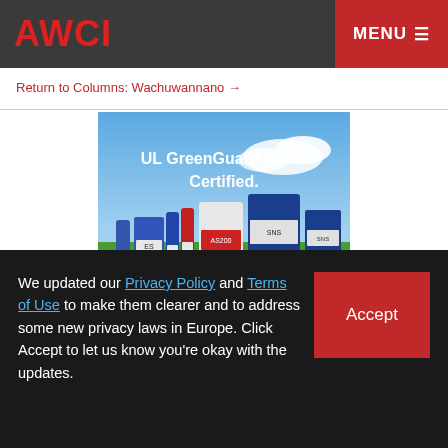AWCI | MENU
Return to Columns: Wachuwannano →
[Figure (photo): Advertisement image showing construction/sealant products (tubes and buckets labeled ES, LC, AS200, SNS) in front of a blue sky with text 'UL GreenGuard Gold® Certified.']
We updated our Privacy Policy and Terms of Use to make them clearer and to address some new privacy laws in Europe. Click Accept to let us know you're okay with the updates.